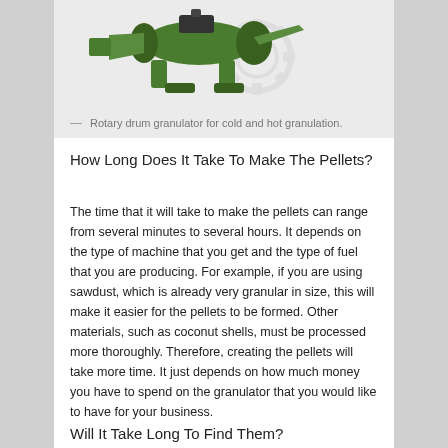[Figure (photo): Rotary drum granulator machine shown in green color on white background with gear/cog icon overlay, displayed within a light gray box.]
— Rotary drum granulator for cold and hot granulation.
How Long Does It Take To Make The Pellets?
The time that it will take to make the pellets can range from several minutes to several hours. It depends on the type of machine that you get and the type of fuel that you are producing. For example, if you are using sawdust, which is already very granular in size, this will make it easier for the pellets to be formed. Other materials, such as coconut shells, must be processed more thoroughly. Therefore, creating the pellets will take more time. It just depends on how much money you have to spend on the granulator that you would like to have for your business.
Will It Take Long To Find Them?